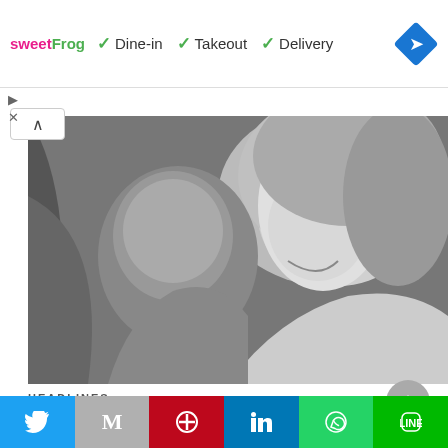[Figure (screenshot): Advertisement banner for sweetFrog with checkmarks for Dine-in, Takeout, Delivery options and a blue navigation diamond icon]
[Figure (photo): Black and white photograph of a woman (Princess Diana) holding and smiling at a young child/baby (Prince Harry)]
HEADLINES
Prince Harry hopes Diana death anniversary